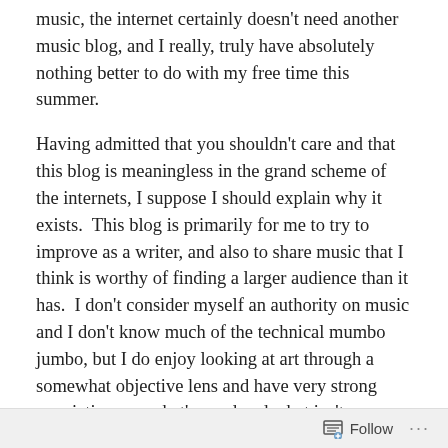music, the internet certainly doesn't need another music blog, and I really, truly have absolutely nothing better to do with my free time this summer.
Having admitted that you shouldn't care and that this blog is meaningless in the grand scheme of the internets, I suppose I should explain why it exists.  This blog is primarily for me to try to improve as a writer, and also to share music that I think is worthy of finding a larger audience than it has.  I don't consider myself an authority on music and I don't know much of the technical mumbo jumbo, but I do enjoy looking at art through a somewhat objective lens and have very strong convictions on what's good and what isn't.
A lot of people say that music can't be looked at
Follow ···